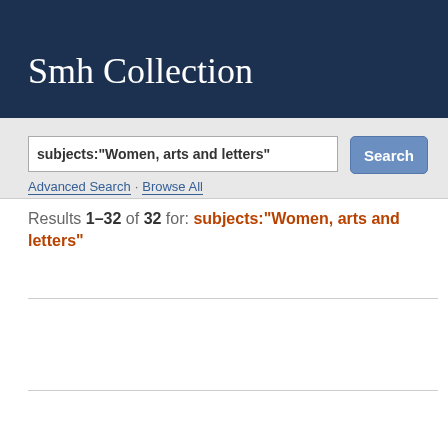Smh Collection
subjects:"Women, arts and letters"
Advanced Search · Browse All
Results 1–32 of 32 for: subjects:"Women, arts and letters"
| Title | Authors | Publication Date | Pub Type |
| --- | --- | --- | --- |
| The Life and Literary Works of Eliza Roxena [sic] Snow | Fryer, Lutie H. | 1923 | Dis |